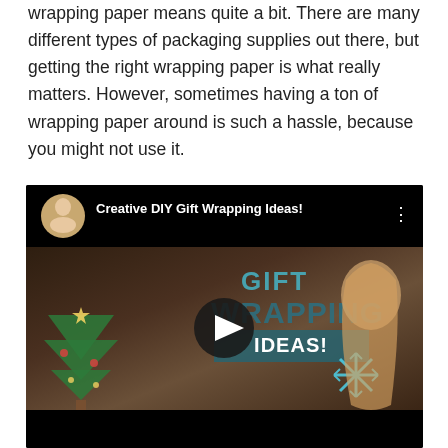wrapping paper means quite a bit. There are many different types of packaging supplies out there, but getting the right wrapping paper is what really matters. However, sometimes having a ton of wrapping paper around is such a hassle, because you might not use it.
[Figure (screenshot): YouTube video thumbnail for 'Creative DIY Gift Wrapping Ideas!' showing a blonde woman with gift wrapping themed background including Christmas trees, gift boxes, and text overlay reading GIFT WRAPPING IDEAS!, with a play button in the center and the channel avatar in the top left corner.]